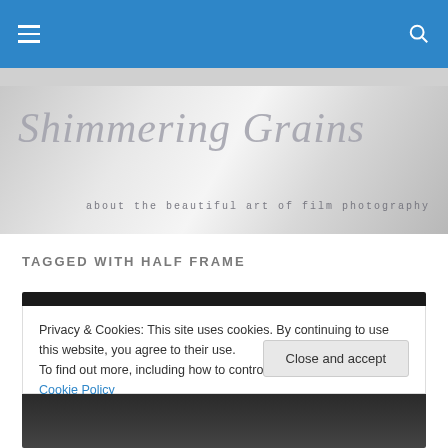Navigation bar with hamburger menu and search icon
[Figure (illustration): Shimmering Grains website banner — silvery silky fabric background with stylized script text 'Shimmering Grains' and subtitle 'about the beautiful art of film photography']
TAGGED WITH HALF FRAME
Privacy & Cookies: This site uses cookies. By continuing to use this website, you agree to their use.
To find out more, including how to control cookies, see here: Cookie Policy
Close and accept